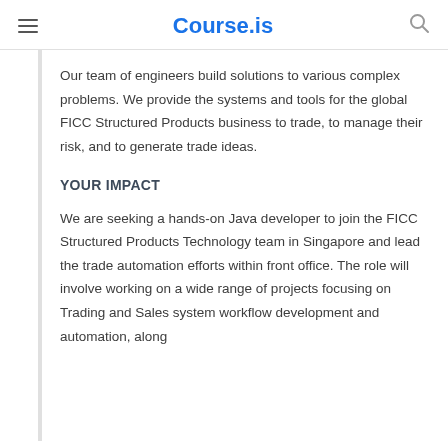Course.is
Our team of engineers build solutions to various complex problems. We provide the systems and tools for the global FICC Structured Products business to trade, to manage their risk, and to generate trade ideas.
YOUR IMPACT
We are seeking a hands-on Java developer to join the FICC Structured Products Technology team in Singapore and lead the trade automation efforts within front office. The role will involve working on a wide range of projects focusing on Trading and Sales system workflow development and automation, along